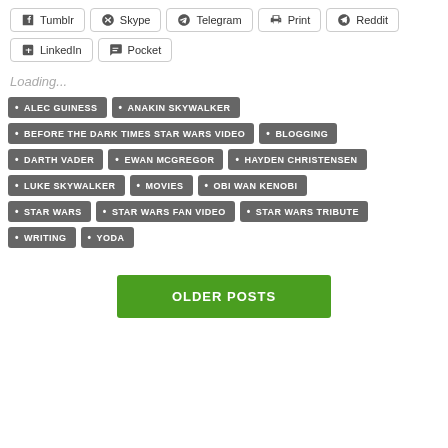Tumblr | Skype | Telegram | Print | Reddit | LinkedIn | Pocket
Loading...
ALEC GUINESS
ANAKIN SKYWALKER
BEFORE THE DARK TIMES STAR WARS VIDEO
BLOGGING
DARTH VADER
EWAN MCGREGOR
HAYDEN CHRISTENSEN
LUKE SKYWALKER
MOVIES
OBI WAN KENOBI
STAR WARS
STAR WARS FAN VIDEO
STAR WARS TRIBUTE
WRITING
YODA
OLDER POSTS